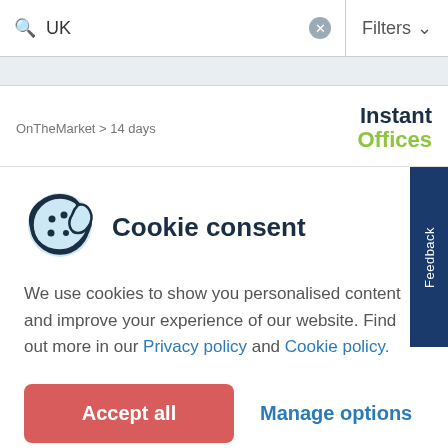UK  Filters
OnTheMarket > 14 days
[Figure (logo): Instant Offices logo with 'Instant' in dark navy and 'Offices' in green]
Cookie consent
We use cookies to show you personalised content and improve your experience of our website. Find out more in our Privacy policy and Cookie policy.
Accept all
Manage options